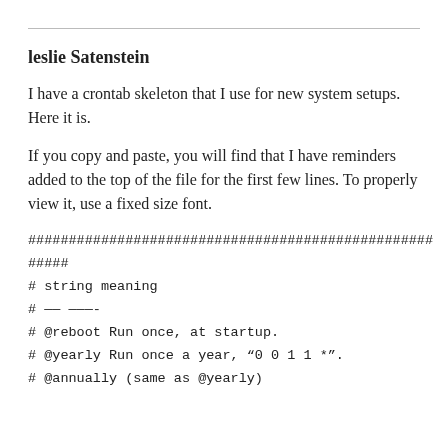leslie Satenstein
I have a crontab skeleton that I use for new system setups.
Here it is.
If you copy and paste, you will find that I have reminders added to the top of the file for the first few lines. To properly view it, use a fixed size font.
##################################################
#####
# string meaning
# —— ———-
# @reboot Run once, at startup.
# @yearly Run once a year, “0 0 1 1 *”.
# @annually (same as @yearly)